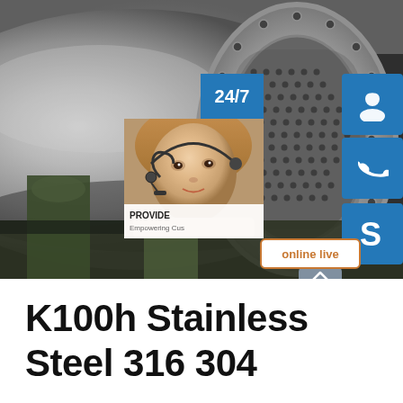[Figure (photo): Industrial stainless steel ball mill or pressure vessel with large cylindrical drum and perforated flange plate visible on the right side, mounted on support machinery in an industrial setting. Overlaid with a customer service panel showing '24/7', a headset-wearing agent, blue icon buttons for support/phone/Skype, 'PROVIDE / Empowering Cus...' text, and an 'online live' button.]
K100h Stainless Steel 316 304